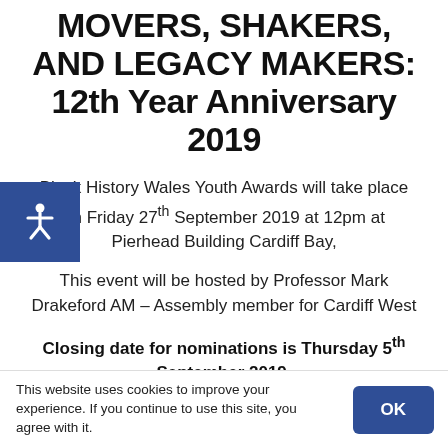MOVERS, SHAKERS, AND LEGACY MAKERS: 12th Year Anniversary 2019
Black History Wales Youth Awards will take place on Friday 27th September 2019 at 12pm at Pierhead Building Cardiff Bay,
This event will be hosted by Professor Mark Drakeford AM – Assembly member for Cardiff West
Closing date for nominations is Thursday 5th September 2019.
This website uses cookies to improve your experience. If you continue to use this site, you agree with it.